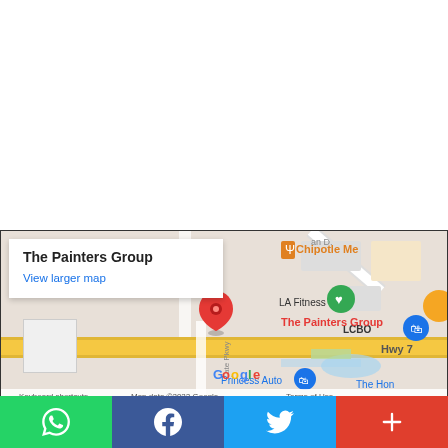[Figure (map): Google Maps embed showing The Painters Group location on Hwy 7, with nearby landmarks including Chipotle Mexico, LA Fitness, LCBO, Princess Auto, and The Home Depot. A red location pin marks The Painters Group. Map data ©2022 Google.]
The Painters Group
View larger map
Keyboard shortcuts   Map data ©2022 Google   Terms of Use